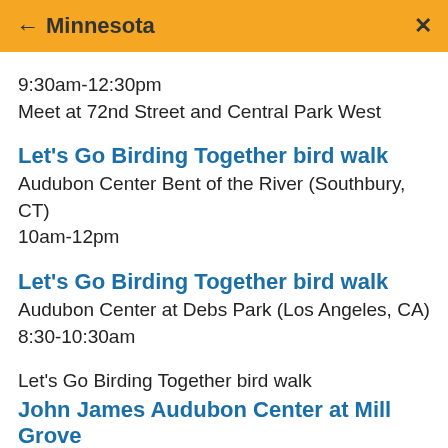← Minnesota  ×
9:30am-12:30pm
Meet at 72nd Street and Central Park West
Let's Go Birding Together bird walk
Audubon Center Bent of the River (Southbury, CT)
10am-12pm
Let's Go Birding Together bird walk
Audubon Center at Debs Park (Los Angeles, CA)
8:30-10:30am
Let's Go Birding Together bird walk
John James Audubon Center at Mill Grove
(Audubon, PA)
8:00am-10:00am
Please dress for the weather and wear good walking